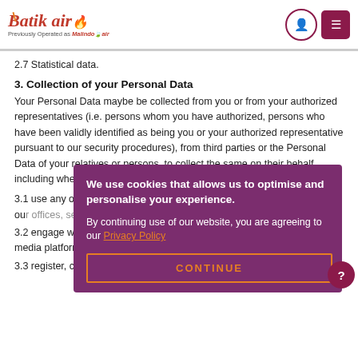Batik Air — Previously Operated as Malindo Air
2.7 Statistical data.
3. Collection of your Personal Data
Your Personal Data maybe be collected from you or from your authorized representatives (i.e. persons whom you have authorized, persons who have been validly identified as being you or your authorized representative pursuant to our security procedures), from third parties or the Personal Data of your relatives or persons, to collect the same on their behalf including whe...
3.1 use any of our digital platforms (including websites, mobile apps) or at our offices, service centres, airport check-in and arrival desks a...
3.2 engage w... feedback forms or through our Social media platform; or
3.3 register, create or modify an online or in-app account with us,
We use cookies that allows us to optimise and personalise your experience. By continuing use of our website, you are agreeing to our Privacy Policy. CONTINUE